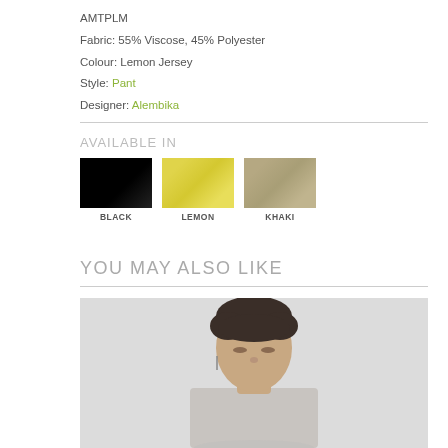AMTPLM
Fabric: 55% Viscose, 45% Polyester
Colour: Lemon Jersey
Style: Pant
Designer: Alembika
AVAILABLE IN
[Figure (photo): Three fabric color swatches labeled BLACK, LEMON, and KHAKI]
YOU MAY ALSO LIKE
[Figure (photo): Model with short dark hair looking downward, wearing jewelry, against a light gray background]